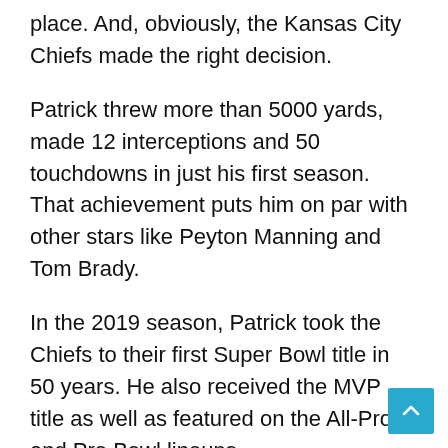place. And, obviously, the Kansas City Chiefs made the right decision.
Patrick threw more than 5000 yards, made 12 interceptions and 50 touchdowns in just his first season. That achievement puts him on par with other stars like Peyton Manning and Tom Brady.
In the 2019 season, Patrick took the Chiefs to their first Super Bowl title in 50 years. He also received the MVP title as well as featured on the All-Pro and Pro Bowl lineups.
Her second child, the younger Mahomes brother, has become an internet star, gaining over 700,000 followers on the popular social media video platform, TikTok.